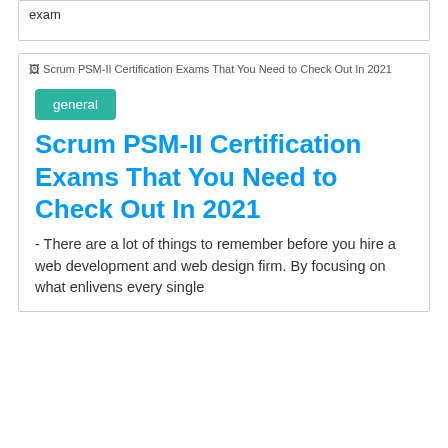exam
[Figure (other): Broken image placeholder for Scrum PSM-II Certification Exams That You Need to Check Out In 2021]
general
Scrum PSM-II Certification Exams That You Need to Check Out In 2021
- There are a lot of things to remember before you hire a web development and web design firm. By focusing on what enlivens every single